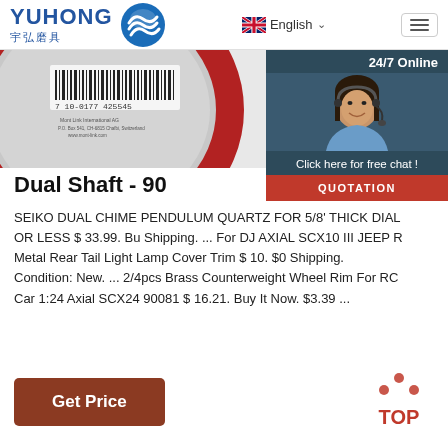YUHONG 宇弘磨具 | English
[Figure (screenshot): Top portion of circular grinding disc with barcode visible, partially cropped]
[Figure (photo): 24/7 Online chat widget with customer service representative photo, 'Click here for free chat!' and QUOTATION button]
Dual Shaft - 90
SEIKO DUAL CHIME PENDULUM QUARTZ FOR 5/8' THICK DIAL OR LESS $ 33.99. Buy Shipping. ... For DJ AXIAL SCX10 III JEEP R Metal Rear Tail Light Lamp Cover Trim $ 10. $0 Shipping. Condition: New. ... 2/4pcs Brass Counterweight Wheel Rim For RC Car 1:24 Axial SCX24 90081 $ 16.21. Buy It Now. $3.39 ...
Get Price
[Figure (logo): TOP button icon with upward arrow dots and TOP text]